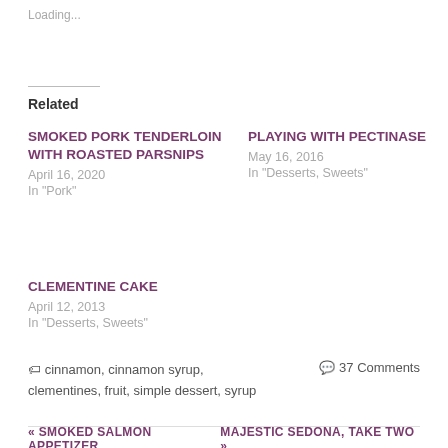Loading...
Related
SMOKED PORK TENDERLOIN WITH ROASTED PARSNIPS
April 16, 2020
In "Pork"
PLAYING WITH PECTINASE
May 16, 2016
In "Desserts, Sweets"
CLEMENTINE CAKE
April 12, 2013
In "Desserts, Sweets"
cinnamon, cinnamon syrup, clementines, fruit, simple dessert, syrup
37 Comments
« SMOKED SALMON APPETIZER
MAJESTIC SEDONA, TAKE TWO »
37 thoughts on "CLEMENTINES IN CINNAMON